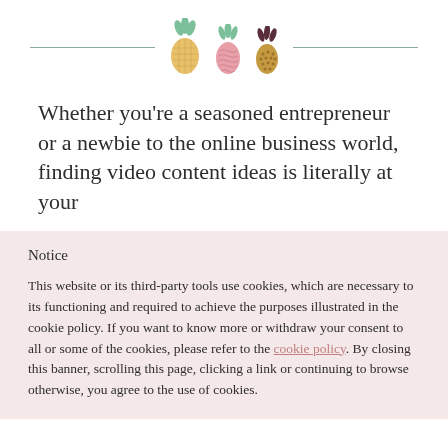[Figure (illustration): Three decorative pineapple icons (yellow, pink, dark brown/maroon) with green tops, flanked by horizontal sage green lines on each side]
Whether you’re a seasoned entrepreneur or a newbie to the online business world, finding video content ideas is literally at your
Notice
This website or its third-party tools use cookies, which are necessary to its functioning and required to achieve the purposes illustrated in the cookie policy. If you want to know more or withdraw your consent to all or some of the cookies, please refer to the cookie policy. By closing this banner, scrolling this page, clicking a link or continuing to browse otherwise, you agree to the use of cookies.